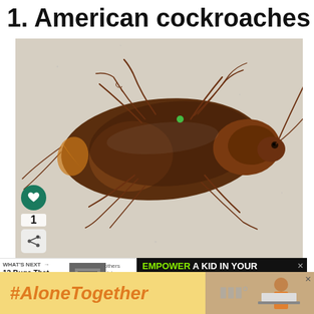1. American cockroaches
[Figure (photo): Close-up photograph of an American cockroach (Periplaneta americana) viewed from above on a light gray/beige surface. The cockroach is large, reddish-brown with darker brown wing covers and visible legs and antennae. There is a heart/like button (green circle with white heart icon) and a number '1' and a share icon on the left side overlay.]
WHAT'S NEXT → 12 Bugs That Look Like...
others sisters.
EMPOWER A KID IN YOUR COMMUNITY TODAY.
Learn How
#AloneTogether